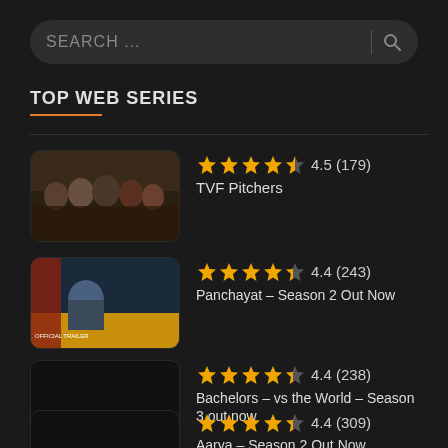[Figure (screenshot): Search bar with placeholder text SEARCH ... and a search icon on the right]
TOP WEB SERIES
4.5 (179) TVF Pitchers
4.4 (243) Panchayat – Season 2 Out Now
4.4 (238) Bachelors – vs the World – Season 3 out now
4.4 (309) Aarya – Season 2 Out Now